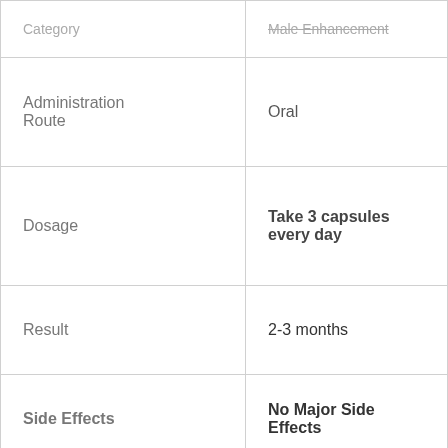| Category | Male Enhancement |
| --- | --- |
| Administration Route | Oral |
| Dosage | Take 3 capsules every day |
| Result | 2-3 months |
| Side Effects | No Major Side Effects |
| Quantity | 90 capsules per bottle |
| Price | $64.99 |